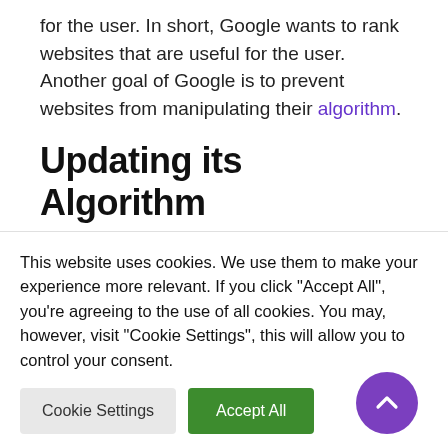for the user. In short, Google wants to rank websites that are useful for the user. Another goal of Google is to prevent websites from manipulating their algorithm.
Updating its Algorithm
By constantly updating its algorithm, Google is able to stay one step ahead of website owners who attempt to manipulate Google's algorithm. If Google updates their algorithm, these website
This website uses cookies. We use them to make your experience more relevant. If you click "Accept All", you're agreeing to the use of all cookies. You may, however, visit "Cookie Settings", this will allow you to control your consent.